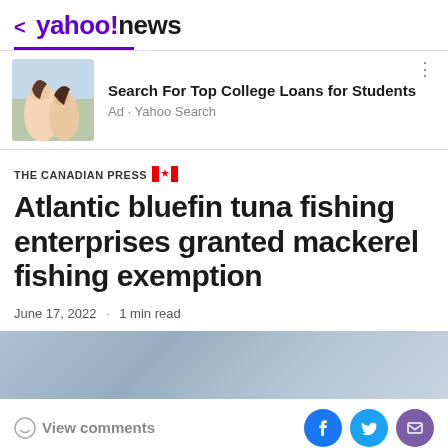< yahoo!news
[Figure (photo): Ad image showing two young women laughing outdoors in a field]
Search For Top College Loans for Students
Ad · Yahoo Search
THE CANADIAN PRESS
Atlantic bluefin tuna fishing enterprises granted mackerel fishing exemption
June 17, 2022 · 1 min read
View comments